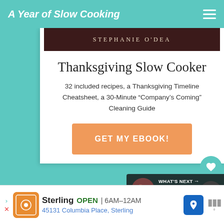A Year of Slow Cooking
STEPHANIE O'DEA
Thanksgiving Slow Cooker
32 included recipes, a Thanksgiving Timeline Cheatsheet, a 30-Minute “Company’s Coming” Cleaning Guide
GET MY EBOOK!
[Figure (screenshot): What's Next panel showing CrockPot Gingerbread... with circular thumbnail]
[Figure (screenshot): Bottom advertisement bar: Sterling, OPEN 6AM-12AM, 45131 Columbia Place, Sterling]